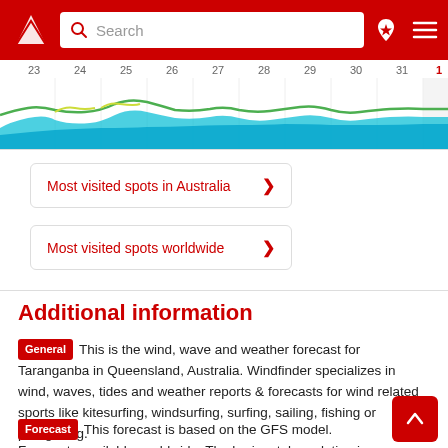Search
[Figure (line-chart): Wind/wave forecast chart showing dates 23 through 31 and 1 along x-axis, with colored area bands (blue, cyan, green) representing forecast data over time.]
Most visited spots in Australia >
Most visited spots worldwide >
Additional information
General  This is the wind, wave and weather forecast for Taranganba in Queensland, Australia. Windfinder specializes in wind, waves, tides and weather reports & forecasts for wind related sports like kitesurfing, windsurfing, surfing, sailing, fishing or paragliding.
Forecast  This forecast is based on the GFS model. Forecasts available worldwide. The horizontal resolution is about 13 km.